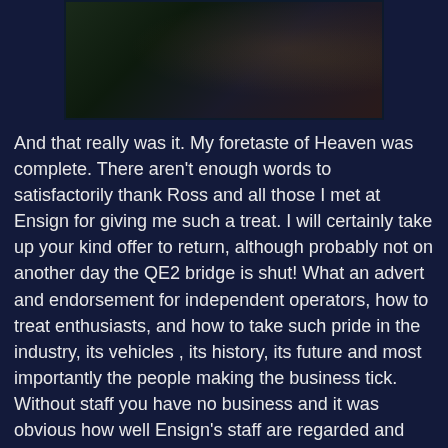[Figure (photo): Dark photograph showing a vehicle or bus in an outdoor setting with dark green background]
And that really was it. My foretaste of Heaven was complete. There aren't enough words to satisfactorily thank Ross and all those I met at Ensign for giving me such a treat. I will certainly take up your kind offer to return, although probably not on another day the QE2 bridge is shut! What an advert and endorsement for independent operators, how to treat enthusiasts, and how to take such pride in the industry, its vehicles , its history, its future and most importantly the people making the business tick. Without staff you have no business and it was obvious how well Ensign's staff are regarded and treated. A lesson other operators could learn.
Ensignbus have a running day on December 2nd, where many of the vehicles featured in these posts will be out doing what they do best. 3 long routes including Gravesend, Bluewater, Tilbury, Lakeside, Brentwood and Upminster. An all day ticket costs a mere £10. Full details by clicking here.